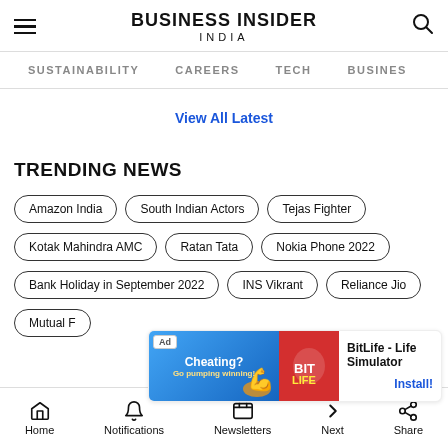BUSINESS INSIDER INDIA
SUSTAINABILITY   CAREERS   TECH   BUSINES
View All Latest
TRENDING NEWS
Amazon India
South Indian Actors
Tejas Fighter
Kotak Mahindra AMC
Ratan Tata
Nokia Phone 2022
Bank Holiday in September 2022
INS Vikrant
Reliance Jio
Mutual F…
[Figure (screenshot): Ad banner for BitLife - Life Simulator app with Install button]
Cyrus Mi…
Home   Notifications   Newsletters   Next   Share